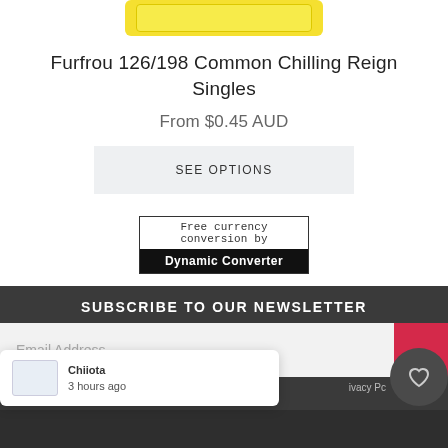[Figure (photo): Partial view of a yellow Pokemon trading card at the top of the page]
Furfrou 126/198 Common Chilling Reign Singles
From $0.45 AUD
SEE OPTIONS
[Figure (other): Free currency conversion by Dynamic Converter widget]
SUBSCRIBE TO OUR NEWSLETTER
Email Address
[Figure (other): Notification popup showing a thumbnail image, text 'Chiiota' and '3 hours ago', with a heart icon and partial 'ivacy Pc' text]